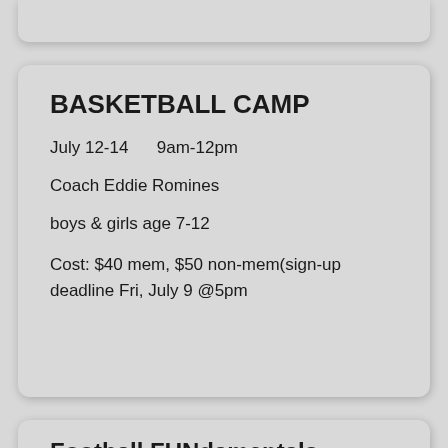BASKETBALL CAMP
July 12-14      9am-12pm
Coach Eddie Romines
boys & girls age 7-12
Cost: $40 mem, $50 non-mem(sign-up deadline Fri, July 9 @5pm
Football FUNdamentals
July 26-29      9am-12pm